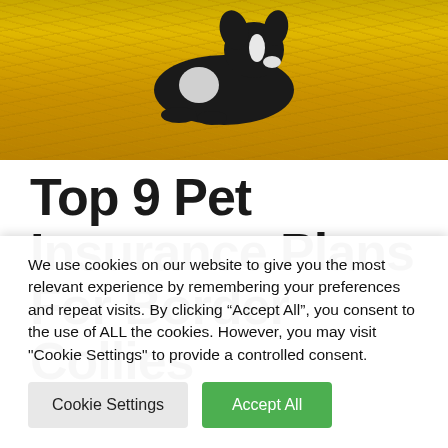[Figure (photo): A Border Collie dog lying in golden straw/hay, photo cropped showing mostly the straw background with the dog visible at the top center]
Top 9 Pet Insurance Plans For Border Collies
We use cookies on our website to give you the most relevant experience by remembering your preferences and repeat visits. By clicking “Accept All”, you consent to the use of ALL the cookies. However, you may visit "Cookie Settings" to provide a controlled consent.